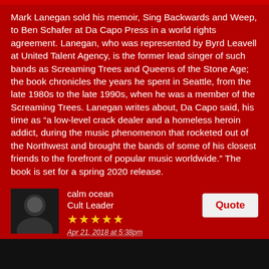Mark Lanegan sold his memoir, Sing Backwards and Weep, to Ben Schafer at Da Capo Press in a world rights agreement. Lanegan, who was represented by Byrd Leavell at United Talent Agency, is the former lead singer of such bands as Screaming Trees and Queens of the Stone Age; the book chronicles the years he spent in Seattle, from the late 1980s to the late 1990s, when he was a member of the Screaming Trees. Lanegan writes about, Da Capo said, his time as “a low-level crack dealer and a homeless heroin addict, during the music phenomenon that rocketed out of the Northwest and brought the bands of some of his closest friends to the forefront of popular music worldwide.” The book is set for a spring 2020 release.
calm ocean
Cult Leader
Apr 21, 2018 at 5:38pm
oh wow, the title is perfect. where was this info made available?
edit:
found it here: